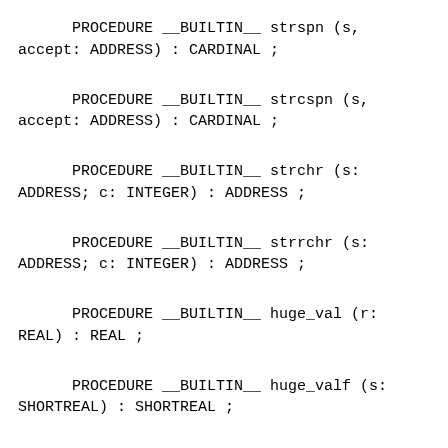PROCEDURE __BUILTIN__ strspn (s, accept: ADDRESS) : CARDINAL ;
PROCEDURE __BUILTIN__ strcspn (s, accept: ADDRESS) : CARDINAL ;
PROCEDURE __BUILTIN__ strchr (s: ADDRESS; c: INTEGER) : ADDRESS ;
PROCEDURE __BUILTIN__ strrchr (s: ADDRESS; c: INTEGER) : ADDRESS ;
PROCEDURE __BUILTIN__ huge_val (r: REAL) : REAL ;
PROCEDURE __BUILTIN__ huge_valf (s: SHORTREAL) : SHORTREAL ;